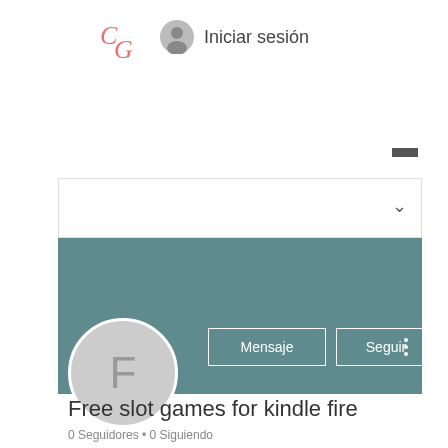[Figure (logo): Stylized cursive 'CG' logo in pink/salmon color]
Iniciar sesión
[Figure (other): Hamburger menu icon (three horizontal lines)]
[Figure (screenshot): Dropdown box with chevron arrow]
[Figure (screenshot): Teal/dark cyan profile banner with Mensaje and Seguir buttons and three-dot menu]
[Figure (other): Circular avatar with letter F on light gray background]
Free slot games for kindle fire
0 Seguidores • 0 Siguiendo